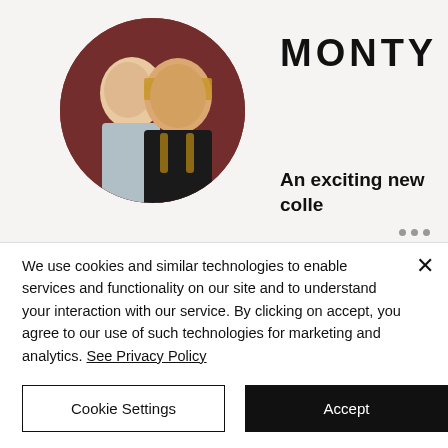[Figure (photo): Circular cropped photo of two children wearing overalls against a dark red corrugated background. One child has light hair and looks down; the other faces the camera with blonde bangs.]
MONTY
An exciting new collection reinterpreted for chi...
We use cookies and similar technologies to enable services and functionality on our site and to understand your interaction with our service. By clicking on accept, you agree to our use of such technologies for marketing and analytics. See Privacy Policy
Cookie Settings
Accept